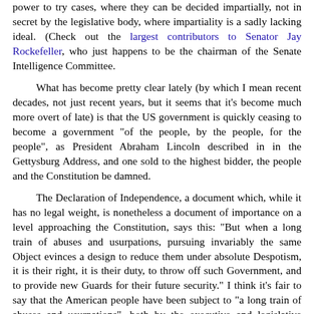power to try cases, where they can be decided impartially, not in secret by the legislative body, where impartiality is a sadly lacking ideal. (Check out the largest contributors to Senator Jay Rockefeller, who just happens to be the chairman of the Senate Intelligence Committee.
What has become pretty clear lately (by which I mean recent decades, not just recent years, but it seems that it's become much more overt of late) is that the US government is quickly ceasing to become a government "of the people, by the people, for the people", as President Abraham Lincoln described in in the Gettysburg Address, and one sold to the highest bidder, the people and the Constitution be damned.
The Declaration of Independence, a document which, while it has no legal weight, is nonetheless a document of importance on a level approaching the Constitution, says this: "But when a long train of abuses and usurpations, pursuing invariably the same Object evinces a design to reduce them under absolute Despotism, it is their right, it is their duty, to throw off such Government, and to provide new Guards for their future security." I think it's fair to say that the American people have been subject to "a long train of abuses and usurpations", both by the executive and legislative branches of government, and I think you can certainly make the case that these abuses and usurpations are invariably for such an object: the economic and social